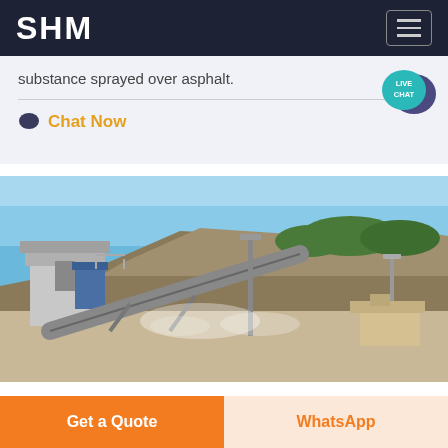SHM
substance sprayed over asphalt.
Chat Now
[Figure (photo): Quarry or mining crushing plant with conveyor belt machinery, a tall light pole, rocky hillside with vegetation, and dust/mist in the foreground under a clear blue sky.]
Get a Quote
WhatsApp